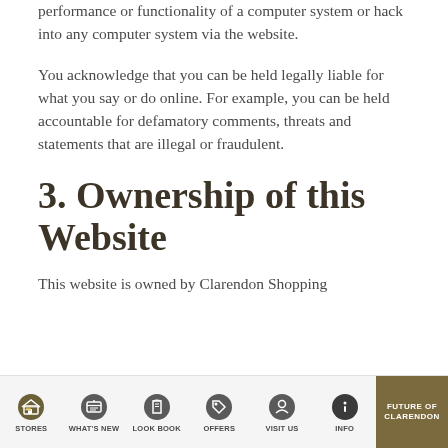performance or functionality of a computer system or hack into any computer system via the website.
You acknowledge that you can be held legally liable for what you say or do online. For example, you can be held accountable for defamatory comments, threats and statements that are illegal or fraudulent.
3. Ownership of this Website
This website is owned by Clarendon Shopping
STORES | WHAT'S NEW | LOOK BOOK | OFFERS | VISIT US | INFO | FUTURE OF CLARENDON